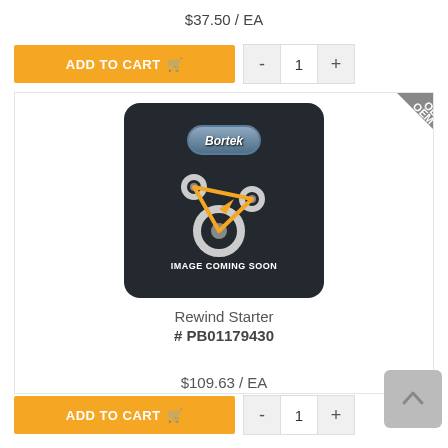$37.50 / EA
ADD TO CART
[Figure (screenshot): Bortek 'Image Coming Soon' product placeholder with OEM badge in top-right corner]
Rewind Starter
# PB01179430
$109.63 / EA
ADD TO CART
[Figure (screenshot): Bortek 'Image Coming Soon' product placeholder, partially visible at bottom]